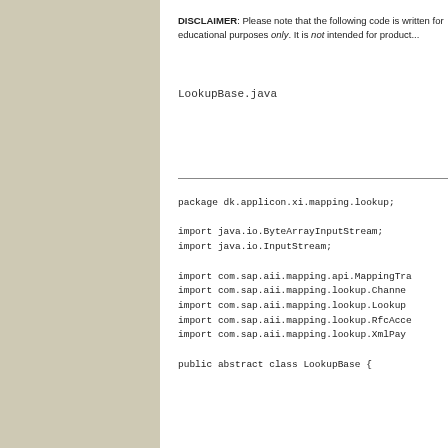DISCLAIMER: Please note that the following code is written for educational purposes only. It is not intended for production use.
LookupBase.java
package dk.applicon.xi.mapping.lookup;

import java.io.ByteArrayInputStream;
import java.io.InputStream;

import com.sap.aii.mapping.api.MappingTra...
import com.sap.aii.mapping.lookup.Channe...
import com.sap.aii.mapping.lookup.Lookup...
import com.sap.aii.mapping.lookup.RfcAcce...
import com.sap.aii.mapping.lookup.XmlPay...

public abstract class LookupBase {